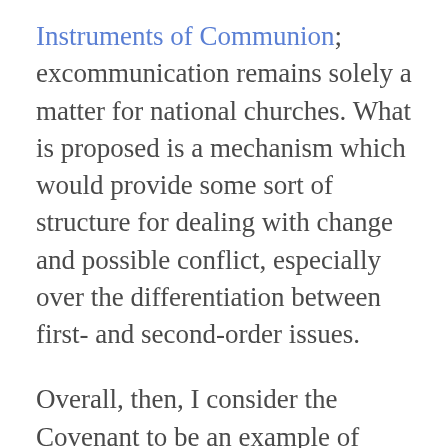Instruments of Communion; excommunication remains solely a matter for national churches. What is proposed is a mechanism which would provide some sort of structure for dealing with change and possible conflict, especially over the differentiation between first- and second-order issues.
Overall, then, I consider the Covenant to be an example of “tepid constitutionalism.” While there may well be tough decisions and splits ahead, it seems to me that these are already happening in an unstructured and sometimes highly acrimonious way. Obviously it may well turn out that the